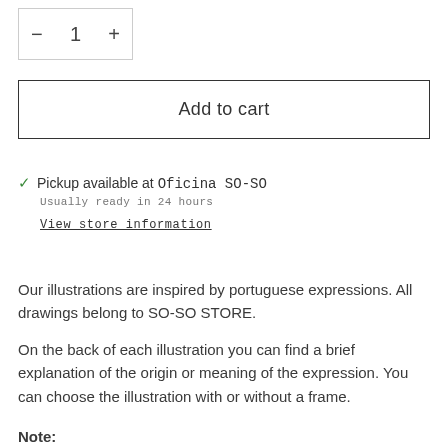[Figure (other): Quantity selector box showing minus button, number 1, and plus button]
Add to cart
✓ Pickup available at Oficina SO-SO
Usually ready in 24 hours
View store information
Our illustrations are inspired by portuguese expressions. All drawings belong to SO-SO STORE.
On the back of each illustration you can find a brief explanation of the origin or meaning of the expression. You can choose the illustration with or without a frame.
Note: